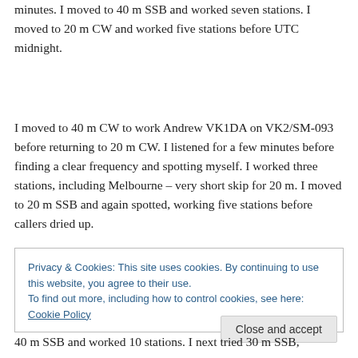minutes. I moved to 40 m SSB and worked seven stations. I moved to 20 m CW and worked five stations before UTC midnight.
I moved to 40 m CW to work Andrew VK1DA on VK2/SM-093 before returning to 20 m CW. I listened for a few minutes before finding a clear frequency and spotting myself. I worked three stations, including Melbourne – very short skip for 20 m. I moved to 20 m SSB and again spotted, working five stations before callers dried up.
Privacy & Cookies: This site uses cookies. By continuing to use this website, you agree to their use.
To find out more, including how to control cookies, see here: Cookie Policy
Close and accept
40 m SSB and worked 10 stations. I next tried 30 m SSB,